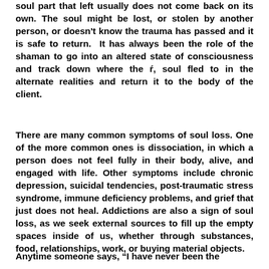soul part that left usually does not come back on its own. The soul might be lost, or stolen by another person, or doesn't know the trauma has passed and it is safe to return. It has always been the role of the shaman to go into an altered state of consciousness and track down where the ŕ, soul fled to in the alternate realities and return it to the body of the client.
There are many common symptoms of soul loss. One of the more common ones is dissociation, in which a person does not feel fully in their body, alive, and engaged with life. Other symptoms include chronic depression, suicidal tendencies, post-traumatic stress syndrome, immune deficiency problems, and grief that just does not heal. Addictions are also a sign of soul loss, as we seek external sources to fill up the empty spaces inside of us, whether through substances, food, relationships, work, or buying material objects.
Anytime someone says, “I have never been the